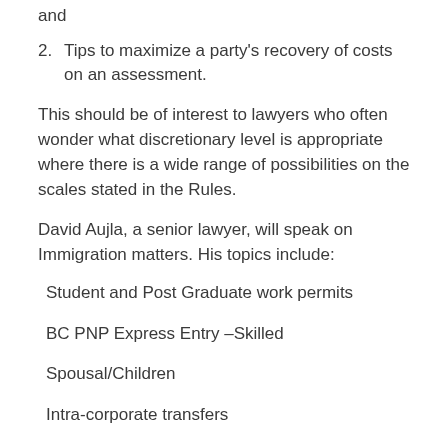and
2. Tips to maximize a party's recovery of costs on an assessment.
This should be of interest to lawyers who often wonder what discretionary level is appropriate where there is a wide range of possibilities on the scales stated in the Rules.
David Aujla, a senior lawyer, will speak on Immigration matters. His topics include:
Student and Post Graduate work permits
BC PNP Express Entry –Skilled
Spousal/Children
Intra-corporate transfers